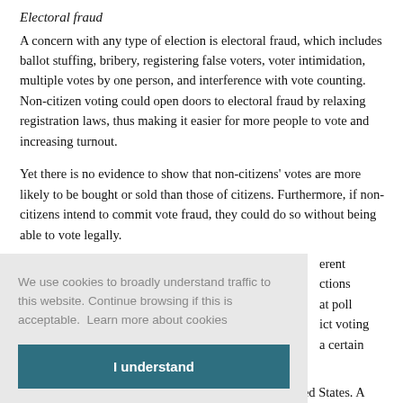Electoral fraud
A concern with any type of election is electoral fraud, which includes ballot stuffing, bribery, registering false voters, voter intimidation, multiple votes by one person, and interference with vote counting. Non-citizen voting could open doors to electoral fraud by relaxing registration laws, thus making it easier for more people to vote and increasing turnout.
Yet there is no evidence to show that non-citizens' votes are more likely to be bought or sold than those of citizens. Furthermore, if non-citizens intend to commit vote fraud, they could do so without being able to vote legally.
We use cookies to broadly understand traffic to this website. Continue browsing if this is acceptable.  Learn more about cookies
The practice of non-citizen voting is as old as the United States. A growing